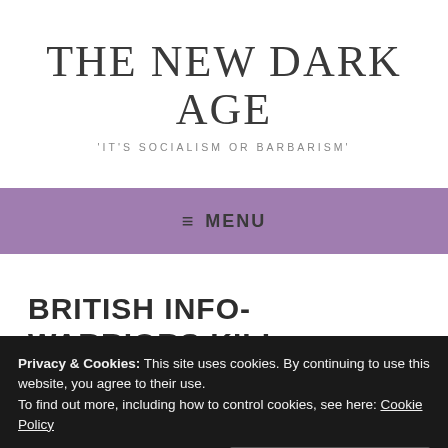THE NEW DARK AGE
'IT'S SOCIALISM OR BARBARISM'
≡ MENU
BRITISH INFO-WARRIORS KILL
Privacy & Cookies: This site uses cookies. By continuing to use this website, you agree to their use.
To find out more, including how to control cookies, see here: Cookie Policy
Close and accept